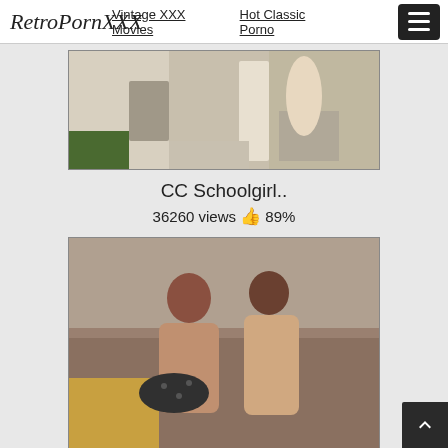Vintage XXX Movies  Hot Classic Porno
RetroPornXXX
[Figure (photo): Top thumbnail image of vintage video content]
CC Schoolgirl..
36260 views 👍 89%
[Figure (photo): Bottom thumbnail image showing two people in a retro scene]